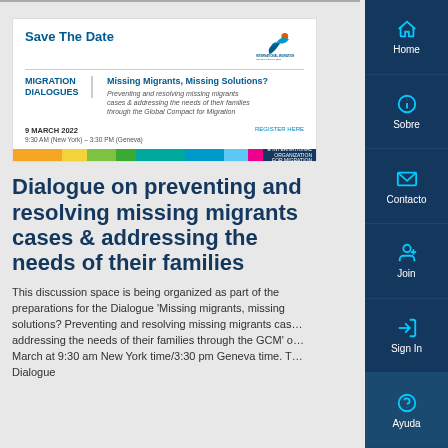[Figure (screenshot): Save The Date card for Migration Dialogues event: 'Missing Migrants, Missing Solutions? Preventing and resolving missing migrants cases & addressing the needs of their families through the Global Compact for Migration', 9 March 2022, 9:30 AM (New York) – 3:30 PM (Geneva). Features IOM logo and colored bar footer.]
Dialogue on preventing and resolving missing migrants cases & addressing the needs of their families
This discussion space is being organized as part of the preparations for the Dialogue 'Missing migrants, missing solutions? Preventing and resolving missing migrants cases & addressing the needs of their families through the GCM' on 9 March at 9:30 am New York time/3:30 pm Geneva time. T… Dialogue